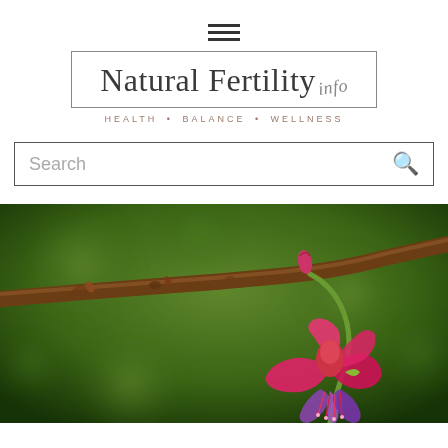[Figure (other): Hamburger menu icon with three horizontal lines]
[Figure (logo): Natural Fertility Info logo with tagline HEALTH • BALANCE • WELLNESS]
[Figure (other): Search box with placeholder text 'Search' and magnifying glass icon]
[Figure (photo): Close-up macro photograph of a fuchsia flower hanging from a brown wooden branch against a blurred green bokeh background. The flower has bright pink/red sepals and purple petals.]